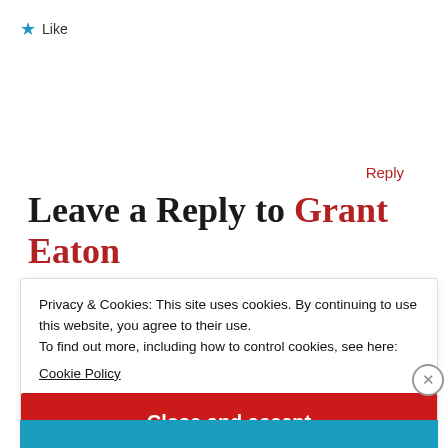★ Like
Reply
Leave a Reply to Grant Eaton
Cancel reply
Privacy & Cookies: This site uses cookies. By continuing to use this website, you agree to their use.
To find out more, including how to control cookies, see here:
Cookie Policy
Close and accept